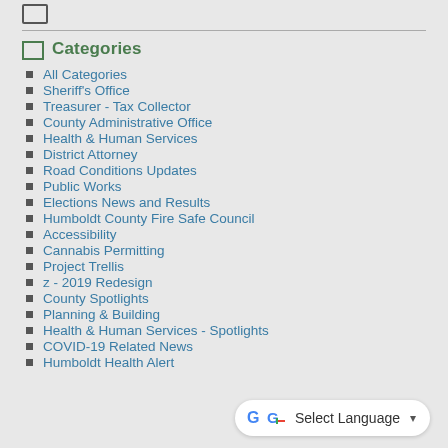Categories
All Categories
Sheriff's Office
Treasurer - Tax Collector
County Administrative Office
Health & Human Services
District Attorney
Road Conditions Updates
Public Works
Elections News and Results
Humboldt County Fire Safe Council
Accessibility
Cannabis Permitting
Project Trellis
z - 2019 Redesign
County Spotlights
Planning & Building
Health & Human Services - Spotlights
COVID-19 Related News
Humboldt Health Alert